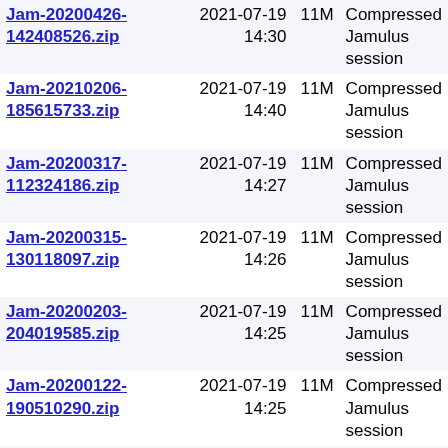| Name | Date | Size | Description |
| --- | --- | --- | --- |
| Jam-20200426-142408526.zip | 2021-07-19 14:30 | 11M | Compressed Jamulus session |
| Jam-20210206-185615733.zip | 2021-07-19 14:40 | 11M | Compressed Jamulus session |
| Jam-20200317-112324186.zip | 2021-07-19 14:27 | 11M | Compressed Jamulus session |
| Jam-20200315-130118097.zip | 2021-07-19 14:26 | 11M | Compressed Jamulus session |
| Jam-20200203-204019585.zip | 2021-07-19 14:25 | 11M | Compressed Jamulus session |
| Jam-20200122-190510290.zip | 2021-07-19 14:25 | 11M | Compressed Jamulus session |
| Jam-20200319-212047413.zip | 2021-07-19 14:27 | 11M | Compressed Jamulus session |
| Jam-20190915-135829868.zip | 2019-09-15 09:41 | 11M | Compressed Jamulus session |
| Jam-20200211-210251693.zip | 2021-07-19 14:26 | 11M | Compressed Jamulus session |
| Jam-20201108-163313046.zip | 2021-07-19 14:38 | 11M | Compressed Jamulus session |
| Jam-20220726-183944408.zip | 2022-08-03 12:22 | 11M | Compressed Jamulus session |
| Jam-20201213-... | 2021-07-19 | ... | Compressed |